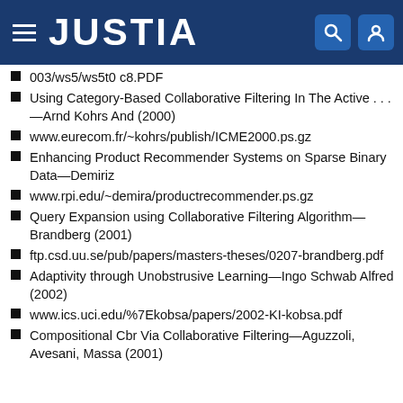JUSTIA
003/ws5/ws5t0 c8.PDF
Using Category-Based Collaborative Filtering In The Active . . . —Arnd Kohrs And (2000)
www.eurecom.fr/~kohrs/publish/ICME2000.ps.gz
Enhancing Product Recommender Systems on Sparse Binary Data—Demiriz
www.rpi.edu/~demira/productrecommender.ps.gz
Query Expansion using Collaborative Filtering Algorithm—Brandberg (2001)
ftp.csd.uu.se/pub/papers/masters-theses/0207-brandberg.pdf
Adaptivity through Unobstrusive Learning—Ingo Schwab Alfred (2002)
www.ics.uci.edu/%7Ekobsa/papers/2002-KI-kobsa.pdf
Compositional Cbr Via Collaborative Filtering—Aguzzoli, Avesani, Massa (2001)